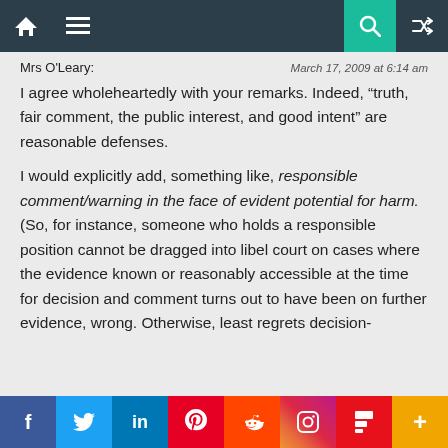Navigation bar with home, menu, search, and random icons
Mrs O'Leary:
March 17, 2009 at 6:14 am
I agree wholeheartedly with your remarks. Indeed, “truth, fair comment, the public interest, and good intent” are reasonable defenses.
I would explicitly add, something like, responsible comment/warning in the face of evident potential for harm. (So, for instance, someone who holds a responsible position cannot be dragged into libel court on cases where the evidence known or reasonably accessible at the time for decision and comment turns out to have been on further evidence, wrong. Otherwise, least regrets decision-
Social sharing bar: Facebook, Twitter, LinkedIn, Pinterest, Reddit, Instagram, Flipboard, More